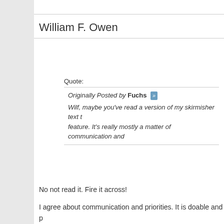William F. Owen
Quote:
Originally Posted by Fuchs
Wilf, maybe you've read a version of my skirmisher text that had this feature. It's really mostly a matter of communication and
No not read it. Fire it across!
I agree about communication and priorities. It is doable and p... only want to look at this once I start work on Formation Levels... myself stuck on units for some time yet.
Page 1 of 3  1  2  3  ▶  Last ▶▶
All times are GMT. The time now is 08:15
Powered by vBulletin® Version 4.2.5. ©2000 - 2022, Jel
Registered Users are solely responsible for t...